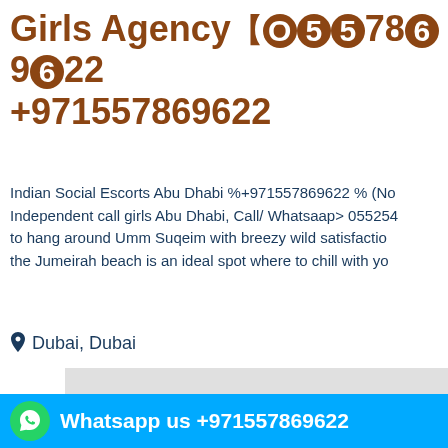Girls Agency【O55ⓢ7869Ⓠ22 +971557869622
Indian Social Escorts Abu Dhabi %+971557869622 % (No Independent call girls Abu Dhabi, Call/ Whatsaap> 055254 to hang around Umm Suqeim with breezy wild satisfactio the Jumeirah beach is an ideal spot where to chill with yo
Dubai, Dubai
[Figure (photo): Photo placeholder with camera icon, light gray background]
[Figure (infographic): Red Call Now button with phone icon and number +971557869622]
[Figure (infographic): Blue Whatsapp bar with WhatsApp icon and text: Whatsapp us +971557869622]